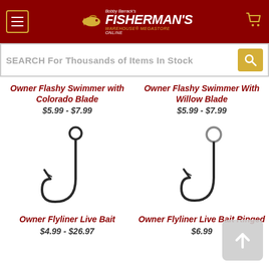[Figure (logo): Bobby Barrack's Fisherman's Warehouse Megastore Online logo with fish graphic on dark red header background]
SEARCH For Thousands of Items In Stock
Owner Flashy Swimmer with Colorado Blade
$5.99 - $7.99
Owner Flashy Swimmer With Willow Blade
$5.99 - $7.99
[Figure (photo): Owner Flyliner Live Bait fishing hook, black, large single hook]
Owner Flyliner Live Bait
$4.99 - $26.97
[Figure (photo): Owner Flyliner Live Bait Ringed fishing hook, black, large single hook with ring at top]
Owner Flyliner Live Bait Ringed
$6.99